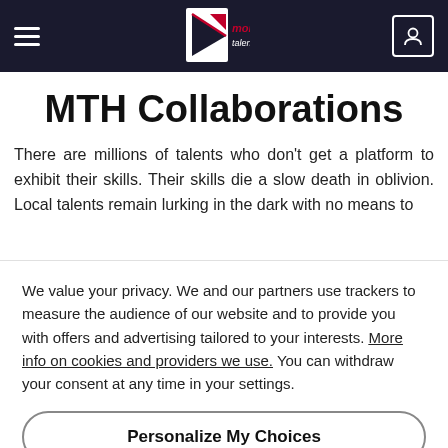[Figure (logo): MTH (Moris Talent Hunt) website screenshot showing navigation bar with hamburger menu, logo, and user icon on dark background]
MTH Collaborations
There are millions of talents who don't get a platform to exhibit their skills. Their skills die a slow death in oblivion. Local talents remain lurking in the dark with no means to
We value your privacy. We and our partners use trackers to measure the audience of our website and to provide you with offers and advertising tailored to your interests. More info on cookies and providers we use. You can withdraw your consent at any time in your settings.
Personalize My Choices
I Accept